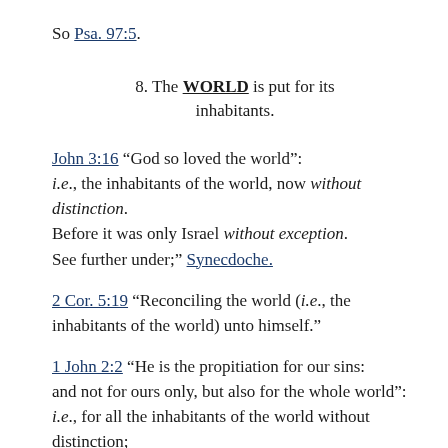So Psa. 97:5.
8. The WORLD is put for its inhabitants.
John 3:16 “God so loved the world”:
i.e., the inhabitants of the world, now without distinction.
Before it was only Israel without exception.
See further under;” Synecdoche.
2 Cor. 5:19 “Reconciling the world (i.e., the inhabitants of the world) unto himself.”
1 John 2:2 “He is the propitiation for our sins:
and not for ours only, but also for the whole world”:
i.e., for all the inhabitants of the world without distinction;
as shown by the use of